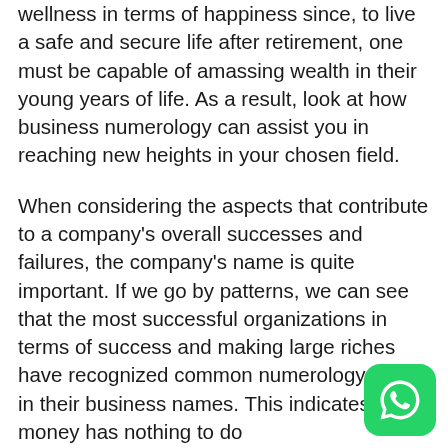wellness in terms of happiness since, to live a safe and secure life after retirement, one must be capable of amassing wealth in their young years of life. As a result, look at how business numerology can assist you in reaching new heights in your chosen field.
When considering the aspects that contribute to a company's overall successes and failures, the company's name is quite important. If we go by patterns, we can see that the most successful organizations in terms of success and making large riches have recognized common numerology trends in their business names. This indicates that money has nothing to do